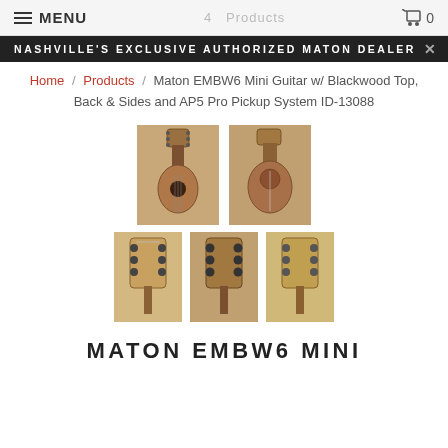MENU   0
NASHVILLE'S EXCLUSIVE AUTHORIZED MATON DEALER
Home / Products / Maton EMBW6 Mini Guitar w/ Blackwood Top, Back & Sides and AP5 Pro Pickup System ID-13088
[Figure (photo): Five thumbnail product photos of the Maton EMBW6 Mini guitar showing full-body front view, side/back view, and three close-up headstock views with tuners]
MATON EMBW6 MINI